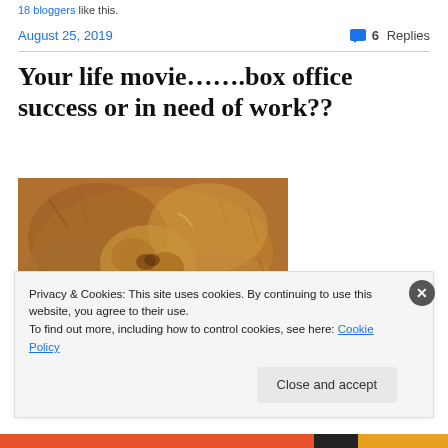18 bloggers like this.
August 25, 2019   💬 6 Replies
Your life movie…….box office success or in need of work??
[Figure (photo): Close-up photo of a big cat (lion or similar) with fur and paws visible, warm brown tones]
Privacy & Cookies: This site uses cookies. By continuing to use this website, you agree to their use.
To find out more, including how to control cookies, see here: Cookie Policy
[Close and accept]